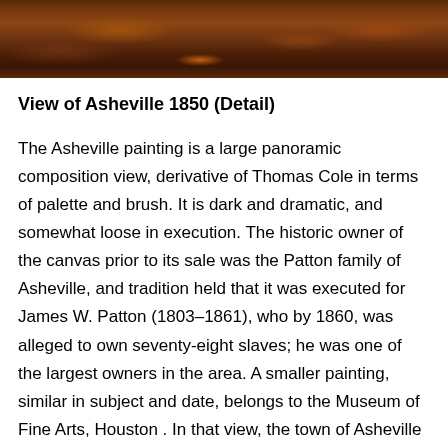[Figure (photo): Detail photograph of the painting 'View of Asheville 1850', showing dark brown and reddish-brown earthy tones, appearing to be a close-up of a painted landscape canvas.]
View of Asheville 1850 (Detail)
The Asheville painting is a large panoramic composition view, derivative of Thomas Cole in terms of palette and brush. It is dark and dramatic, and somewhat loose in execution. The historic owner of the canvas prior to its sale was the Patton family of Asheville, and tradition held that it was executed for James W. Patton (1803–1861), who by 1860, was alleged to own seventy-eight slaves; he was one of the largest owners in the area. A smaller painting, similar in subject and date, belongs to the Museum of Fine Arts, Houston . In that view, the town of Asheville is framed by gnarled and blasted trees trunks, clearly a devise borrowed from Thomas Cole's Lake with Dead Trees (1825). The smaller work is believed to have